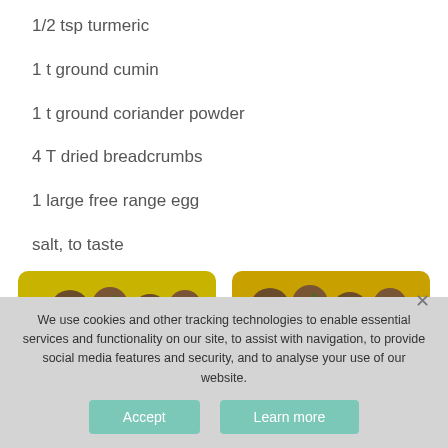1/2 tsp turmeric
1 t ground cumin
1 t ground coriander powder
4 T dried breadcrumbs
1 large free range egg
salt, to taste
[Figure (photo): Two yellow bowls filled with spiced meatballs, side by side]
We use cookies and other tracking technologies to enable essential services and functionality on our site, to assist with navigation, to provide social media features and security, and to analyse your use of our website.